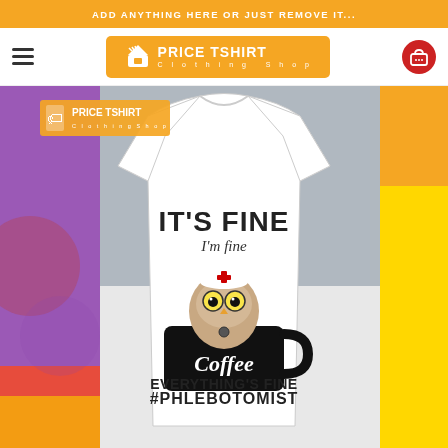ADD ANYTHING HERE OR JUST REMOVE IT...
[Figure (logo): Price Tshirt Clothing Shop logo on orange background in navigation bar]
[Figure (photo): White t-shirt with cartoon owl nurse in coffee cup design, text reads IT'S FINE, I'm fine, Coffee, EVERYTHING'S FINE #PHLEBOTOMIST, on colorful pop-art background with Price Tshirt logo overlay]